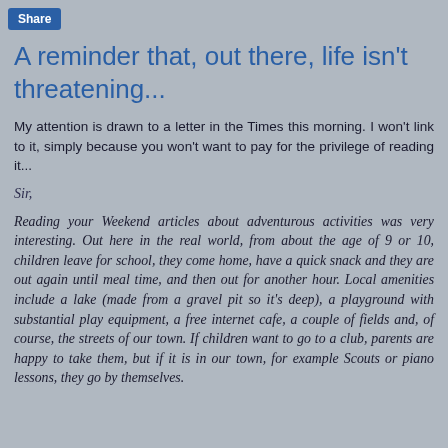Share
A reminder that, out there, life isn't threatening...
My attention is drawn to a letter in the Times this morning. I won't link to it, simply because you won't want to pay for the privilege of reading it...
Sir,
Reading your Weekend articles about adventurous activities was very interesting. Out here in the real world, from about the age of 9 or 10, children leave for school, they come home, have a quick snack and they are out again until meal time, and then out for another hour. Local amenities include a lake (made from a gravel pit so it's deep), a playground with substantial play equipment, a free internet cafe, a couple of fields and, of course, the streets of our town. If children want to go to a club, parents are happy to take them, but if it is in our town, for example Scouts or piano lessons, they go by themselves.